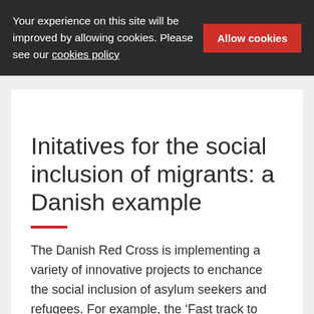Your experience on this site will be improved by allowing cookies. Please see our cookies policy   Allow cookies
Initatives for the social inclusion of migrants: a Danish example
The Danish Red Cross is implementing a variety of innovative projects to enchance the social inclusion of asylum seekers and refugees. For example, the ‘Fast track to employment’ programme aims to help asylum seekers in